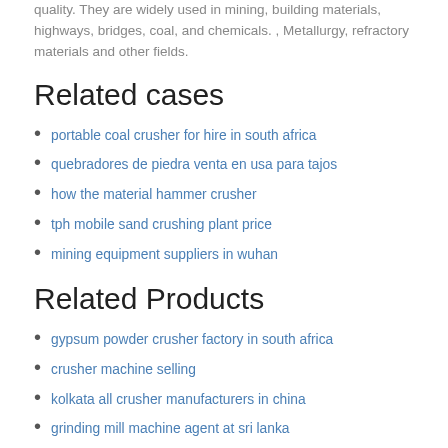quality. They are widely used in mining, building materials, highways, bridges, coal, and chemicals. , Metallurgy, refractory materials and other fields.
Related cases
portable coal crusher for hire in south africa
quebradores de piedra venta en usa para tajos
how the material hammer crusher
tph mobile sand crushing plant price
mining equipment suppliers in wuhan
Related Products
gypsum powder crusher factory in south africa
crusher machine selling
kolkata all crusher manufacturers in china
grinding mill machine agent at sri lanka
cost of cone crusher
crushers of customers in tamilnadu